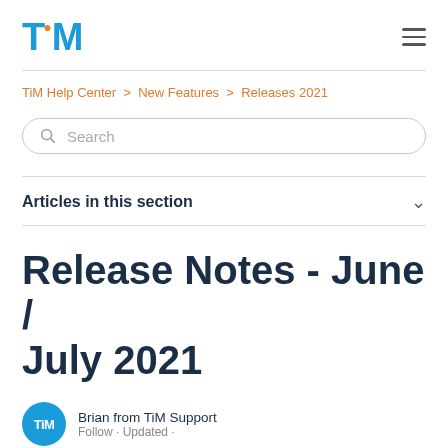TiM
TiM Help Center > New Features > Releases 2021
Search
Articles in this section
Release Notes - June / July 2021
Brian from TiM Support